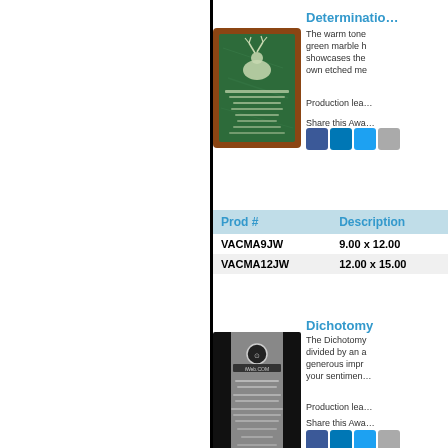[Figure (photo): Determination award plaque with green marble insert on walnut wood background]
Determination
The warm tone green marble h showcases the own etched me
Production lea
Share this Awa
| Prod # | Description |
| --- | --- |
| VACMA9JW | 9.00 x 12.00 |
| VACMA12JW | 12.00 x 15.00 |
Dichotomy
[Figure (photo): Dichotomy award plaque - black with silver bar and logo engraving]
The Dichotomy divided by an a generous impr your sentimen
Production lea
Share this Awa